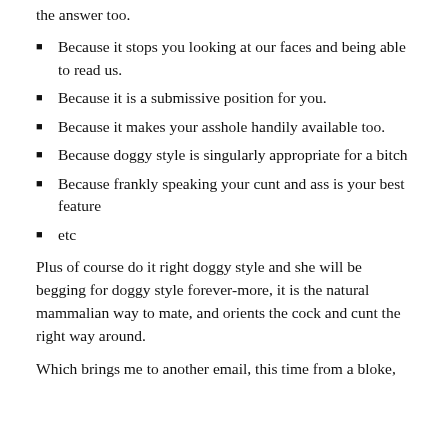the answer too.
Because it stops you looking at our faces and being able to read us.
Because it is a submissive position for you.
Because it makes your asshole handily available too.
Because doggy style is singularly appropriate for a bitch
Because frankly speaking your cunt and ass is your best feature
etc
Plus of course do it right doggy style and she will be begging for doggy style forever-more, it is the natural mammalian way to mate, and orients the cock and cunt the right way around.
Which brings me to another email, this time from a bloke,